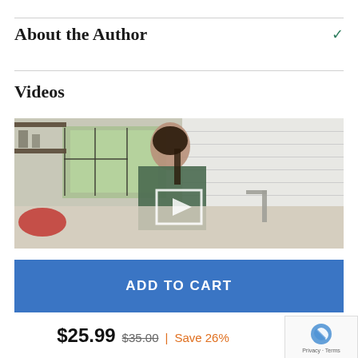About the Author
Videos
[Figure (screenshot): Video thumbnail showing a woman in a kitchen cooking, with a play button overlay in the center]
ADD TO CART
$25.99 $35.00 | Save 26%